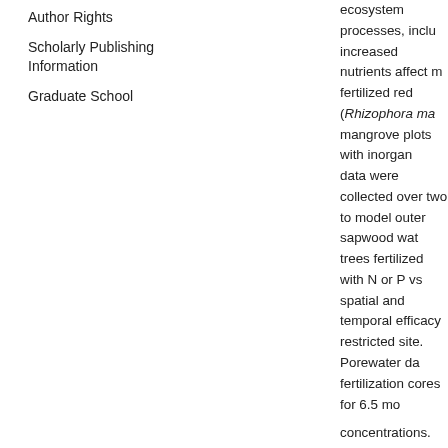Author Rights
Scholarly Publishing Information
Graduate School
ecosystem processes, including how increased nutrients affect m fertilized red (Rhizophora ma mangrove plots with inorgan data were collected over two to model outer sapwood wat trees fertilized with N or P vs spatial and temporal efficacy restricted site. Porewater da fertilization cores for 6.5 mo concentrations. While the co the P fertilized plot compare laterally from 0.5 m to 1.5 m negative effect of time on nu increasing porewater N (NH3 the course of our study. Our described in the literature ar least 0.5 m over a 6-month i fertilization in soil porewater showed very slow rates of in Average daily maximum sap caused an increase in avera outer black mangrove sapwo shallow sapwood water use n